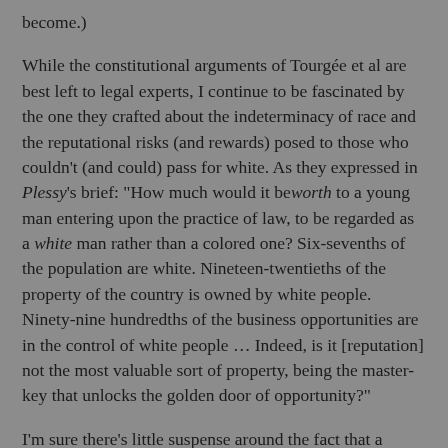become.)
While the constitutional arguments of Tourgée et al are best left to legal experts, I continue to be fascinated by the one they crafted about the indeterminacy of race and the reputational risks (and rewards) posed to those who couldn't (and could) pass for white. As they expressed in Plessy's brief: "How much would it be worth to a young man entering upon the practice of law, to be regarded as a white man rather than a colored one? Six-sevenths of the population are white. Nineteen-twentieths of the property of the country is owned by white people. Ninety-nine hundredths of the business opportunities are in the control of white people ... Indeed, is it [reputation] not the most valuable sort of property, being the master-key that unlocks the golden door of opportunity?"
I'm sure there's little suspense around the fact that a majority of the Supreme Court's then-serving justices chose against opening the door to the Plessy team's arguments. In his opinion for the Court, handed down on May 18, 1896, Justice Henry Billings Brown explained that, as a technical matter, he didn't have to address Homer Plessy's particular "mixture of colored blood," because the appeal his lawyers had filed